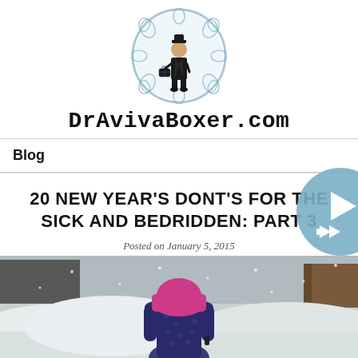[Figure (logo): DrAvivaBoxer.com circular logo with illustration of a doctor figure in a coat holding a medical bag, set against a blue floral pattern background]
DrAvivaBoxer.com
Blog
[Figure (other): Blue circular play/rewind button UI element with a play triangle and rewind double-arrow icon]
20 NEW YEAR'S DONT'S FOR THE SICK AND BEDRIDDEN: PART 3
Posted on January 5, 2015
[Figure (photo): Person wearing a pink/magenta hijab and dark polka dot clothing, viewed from behind, standing in front of a snowy winter scene with large snowdrifts]